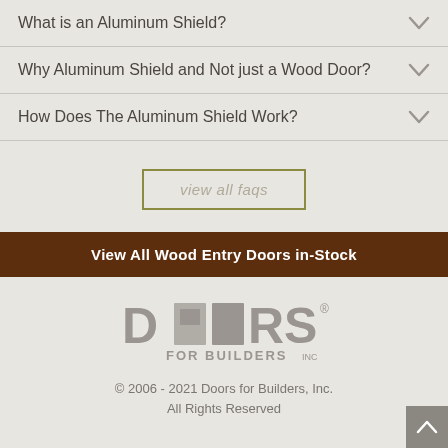What is an Aluminum Shield?
Why Aluminum Shield and Not just a Wood Door?
How Does The Aluminum Shield Work?
view all faqs
View All Wood Entry Doors in-Stock
[Figure (logo): Doors for Builders logo — stylized 'DOORS FOR BUILDERS' text with door panel graphic replacing the two O's]
© 2006 - 2021 Doors for Builders, Inc. All Rights Reserved